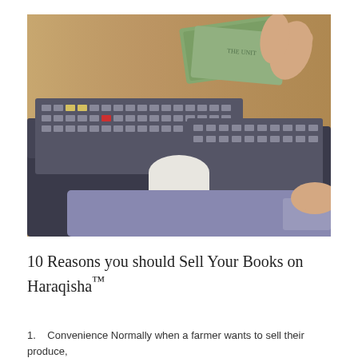[Figure (photo): A hand holding US dollar bills over a cash register with a keyboard and receipt paper visible, and another hand operating the register.]
10 Reasons you should Sell Your Books on Haraqisha™
1. Convenience Normally when a farmer wants to sell their produce,